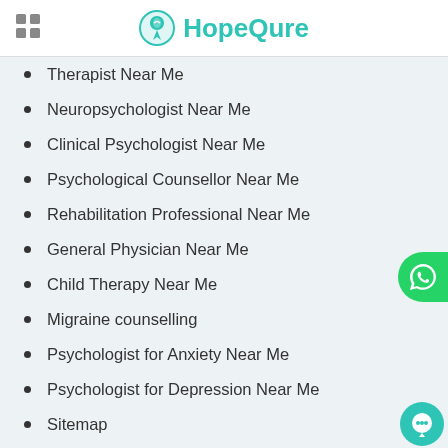HopeQure
Therapist Near Me
Neuropsychologist Near Me
Clinical Psychologist Near Me
Psychological Counsellor Near Me
Rehabilitation Professional Near Me
General Physician Near Me
Child Therapy Near Me
Migraine counselling
Psychologist for Anxiety Near Me
Psychologist for Depression Near Me
Sitemap
Counselling